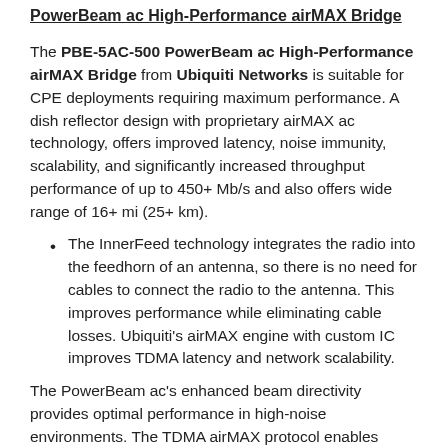PowerBeam ac High-Performance airMAX Bridge
The PBE-5AC-500 PowerBeam ac High-Performance airMAX Bridge from Ubiquiti Networks is suitable for CPE deployments requiring maximum performance. A dish reflector design with proprietary airMAX ac technology, offers improved latency, noise immunity, scalability, and significantly increased throughput performance of up to 450+ Mb/s and also offers wide range of 16+ mi (25+ km).
The InnerFeed technology integrates the radio into the feedhorn of an antenna, so there is no need for cables to connect the radio to the antenna. This improves performance while eliminating cable losses. Ubiquiti's airMAX engine with custom IC improves TDMA latency and network scalability.
The PowerBeam ac's enhanced beam directivity provides optimal performance in high-noise environments. The TDMA airMAX protocol enables optimal scalability, high throughput, and low latency in diverse and multi-point environments.